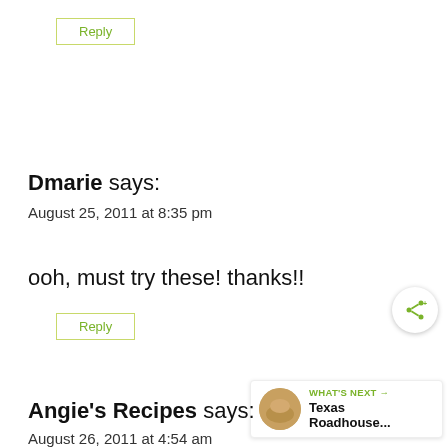Reply
Dmarie says:
August 25, 2011 at 8:35 pm
ooh, must try these! thanks!!
Reply
Angie's Recipes says:
August 26, 2011 at 4:54 am